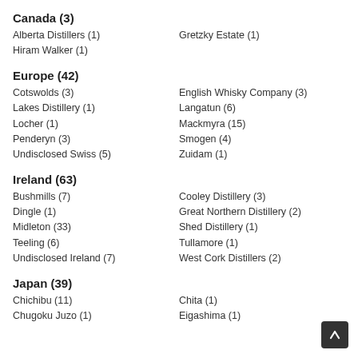Canada (3)
Alberta Distillers (1)
Gretzky Estate (1)
Hiram Walker (1)
Europe (42)
Cotswolds (3)
English Whisky Company (3)
Lakes Distillery (1)
Langatun (6)
Locher (1)
Mackmyra (15)
Penderyn (3)
Smogen (4)
Undisclosed Swiss (5)
Zuidam (1)
Ireland (63)
Bushmills (7)
Cooley Distillery (3)
Dingle (1)
Great Northern Distillery (2)
Midleton (33)
Shed Distillery (1)
Teeling (6)
Tullamore (1)
Undisclosed Ireland (7)
West Cork Distillers (2)
Japan (39)
Chichibu (11)
Chita (1)
Chugoku Juzo (1)
Eigashima (1)